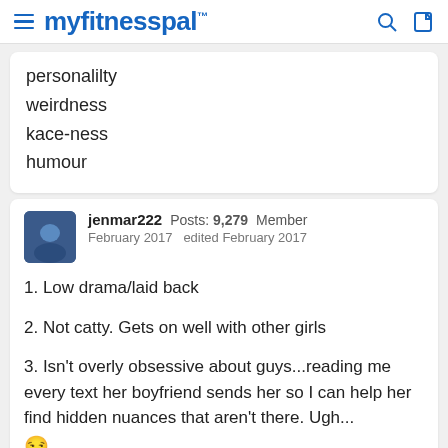myfitnesspal
personalilty
weirdness
kace-ness
humour
jenmar222  Posts: 9,279  Member
February 2017  edited February 2017
1. Low drama/laid back
2. Not catty. Gets on well with other girls
3. Isn't overly obsessive about guys...reading me every text her boyfriend sends her so I can help her find hidden nuances that aren't there. Ugh... 😒